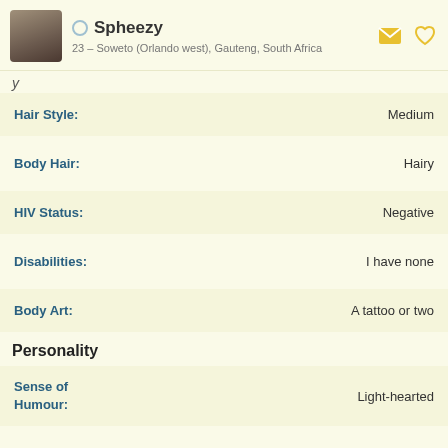Spheezy – 23 – Soweto (Orlando west), Gauteng, South Africa
y
| Attribute | Value |
| --- | --- |
| Hair Style: | Medium |
| Body Hair: | Hairy |
| HIV Status: | Negative |
| Disabilities: | I have none |
| Body Art: | A tattoo or two |
Personality
| Attribute | Value |
| --- | --- |
| Sense of Humour: | Light-hearted |